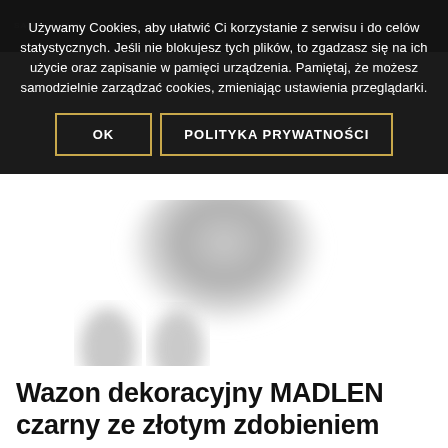Używamy Cookies, aby ułatwić Ci korzystanie z serwisu i do celów statystycznych. Jeśli nie blokujesz tych plików, to zgadzasz się na ich użycie oraz zapisanie w pamięci urządzenia. Pamiętaj, że możesz samodzielnie zarządzać cookies, zmieniając ustawienia przeglądarki.
OK
POLITYKA PRYWATNOŚCI
[Figure (photo): Blurred decorative vase product image, light gray, shown in a product listing page]
Wazon dekoracyjny MADLEN czarny ze złotym zdobieniem